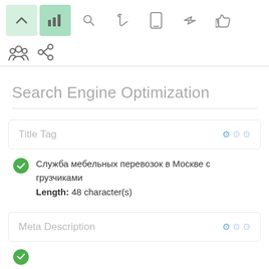[Figure (screenshot): Toolbar with navigation icons: up arrow (light green background), bar chart icon (green background), search, cursor, mobile, send, thumbs up icons]
[Figure (screenshot): Second toolbar row with people/group icon and link/chain icon]
Search Engine Optimization
Title Tag
Служба мебельных перевозок в Москве с грузчиками
Length: 48 character(s)
Meta Description